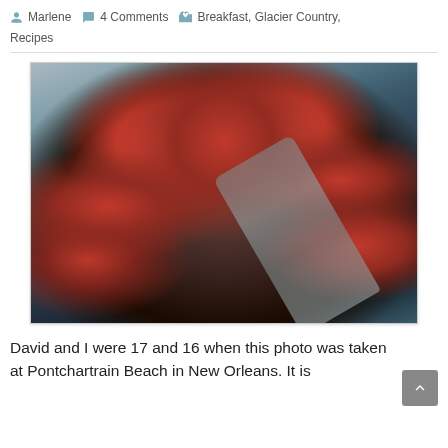Marlene  4 Comments  Breakfast, Glacier Country, Recipes
[Figure (photo): Chocolate pancakes or crepes dusted with powdered sugar, topped with fresh raspberries, served on a decorative glass plate with a fork]
David and I were 17 and 16 when this photo was taken at Pontchartrain Beach in New Orleans. It is